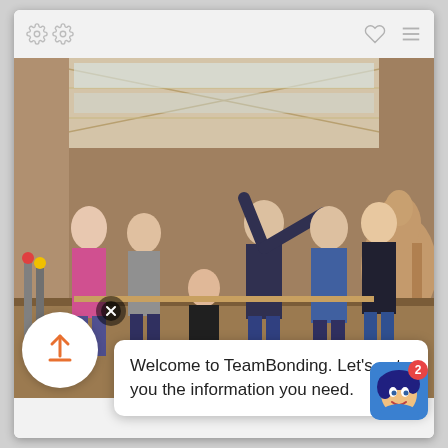[Figure (screenshot): Mobile app screenshot showing a team bonding activity photo inside a barn/arena with people posing joyfully near a horse, with a chat widget overlay saying 'Welcome to TeamBonding. Let's get you the information you need.']
Welcome to TeamBonding. Let's get you the information you need.